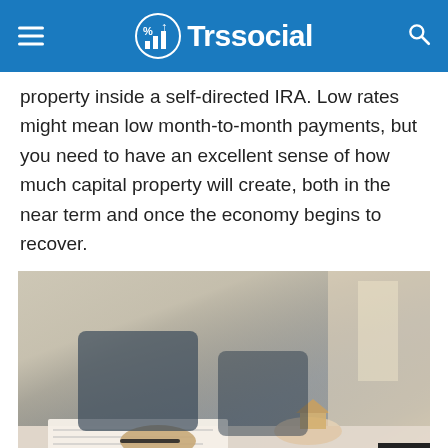Trssocial
property inside a self-directed IRA. Low rates might mean low month-to-month payments, but you need to have an excellent sense of how much capital property will create, both in the near term and once the economy begins to recover.
[Figure (photo): Two business people at a table reviewing and signing documents, with one person holding a pen over papers and a small model house visible, warm office lighting in background.]